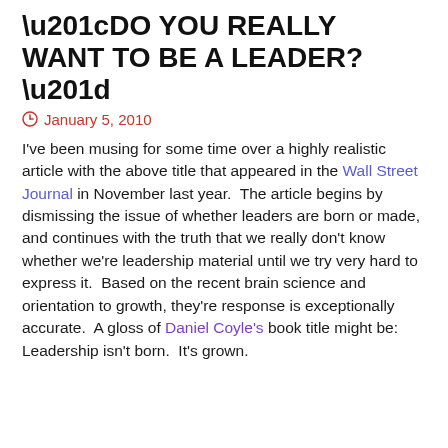“DO YOU REALLY WANT TO BE A LEADER?”
January 5, 2010
I’ve been musing for some time over a highly realistic article with the above title that appeared in the Wall Street Journal in November last year.  The article begins by dismissing the issue of whether leaders are born or made, and continues with the truth that we really don’t know whether we’re leadership material until we try very hard to express it.  Based on the recent brain science and orientation to growth, they’re response is exceptionally accurate.  A gloss of Daniel Coyle’s book title might be:  Leadership isn’t born.  It’s grown.